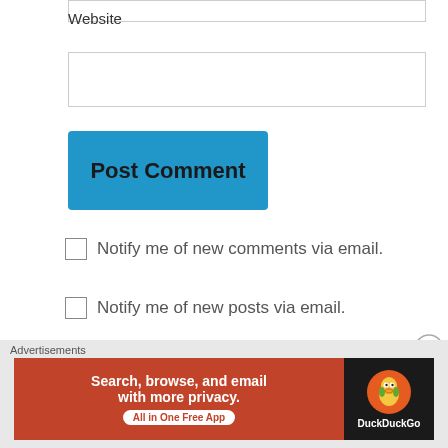Website
Post Comment
Notify me of new comments via email.
Notify me of new posts via email.
This site uses Akismet to reduce spam. Learn how your comment data is processed.
Advertisements
[Figure (screenshot): DuckDuckGo advertisement banner: orange section with text 'Search, browse, and email with more privacy. All in One Free App' and dark section with DuckDuckGo duck logo]